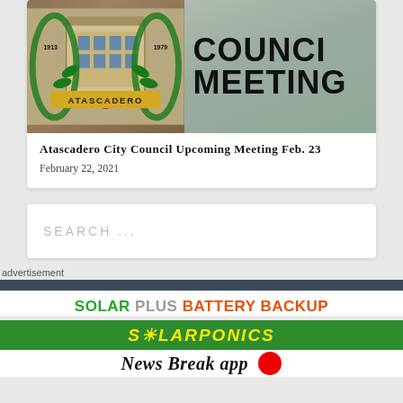[Figure (illustration): Atascadero city logo with a building and wreath, alongside text reading COUNCIL MEETING in large bold letters on a street background]
Atascadero City Council Upcoming Meeting Feb. 23
February 22, 2021
SEARCH ...
advertisement
[Figure (other): Solarponics advertisement: SOLAR PLUS BATTERY BACKUP in green, gray, orange; SOLARPONICS in yellow italic on green bar]
News Break app